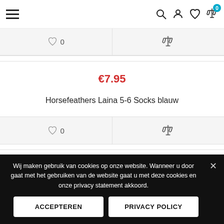Navigation header with hamburger menu, search, account, wishlist, and compare icons
[Figure (screenshot): Action bar with heart/0 wishlist and compare scales icon for product above]
[Figure (screenshot): Product card: price €7.95, name Horsefeathers Laina 5-6 Socks blauw, with action bar (heart/0, compare scales)]
€7.95
Wij maken gebruik van cookies op onze website. Wanneer u door gaat met het gebruiken van de website gaat u met deze cookies en onze privacy statement akkoord.
ACCEPTEREN
PRIVACY POLICY